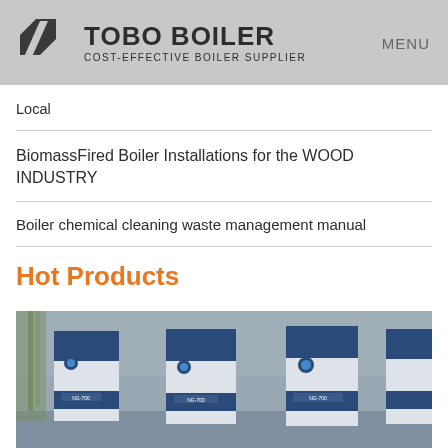TOBO BOILER — COST-EFFECTIVE BOILER SUPPLIER | MENU
Local
BiomassFired Boiler Installations for the WOOD INDUSTRY
Boiler chemical cleaning waste management manual
Hot Products
[Figure (photo): Row of blue and white industrial boiler units (models NG-700, NG-700, NG-700) installed outdoors against a stone wall with bamboo plants in background]